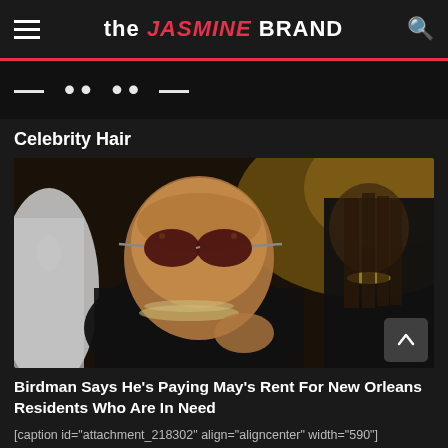the JASMINE BRAND
[Figure (photo): Partially visible banner text on dark background, appears to be navigation/branding element]
Celebrity Hair
[Figure (photo): Photo of Birdman (rapper) wearing sunglasses, face tattoos, and chains, standing with another person]
Birdman Says He's Paying May's Rent For New Orleans Residents Who Are In Need
[caption id="attachment_218302" align="aligncenter" width="590"]